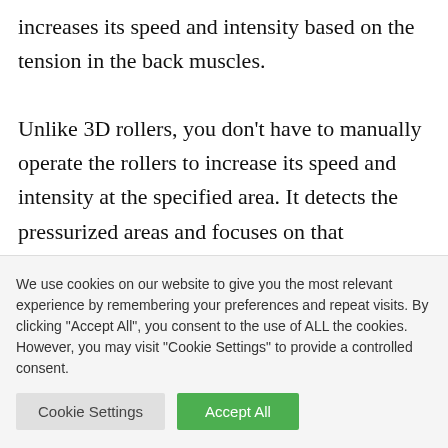increases its speed and intensity based on the tension in the back muscles.

Unlike 3D rollers, you don't have to manually operate the rollers to increase its speed and intensity at the specified area. It detects the pressurized areas and focuses on that particular ares until the
We use cookies on our website to give you the most relevant experience by remembering your preferences and repeat visits. By clicking "Accept All", you consent to the use of ALL the cookies. However, you may visit "Cookie Settings" to provide a controlled consent.